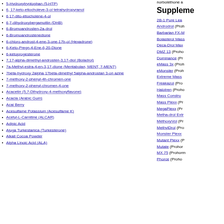5-Hydroxytryptophan (5-HTP)
6, 17-keto-etiocholeve-3-ol tetrahydropyranol
6,17-dito-etiocholene-4-ol
6,7-dihydroxybergamottin (DHB)
6-Bromoandrosten-2a-drol
6-Bromoandrostenedione
6-chloro-androst-4-ene-3-one-17b-ol (Hexadrone)
6-Keto-Pregn-4-Ene-6,20-Dione
6-ketoprogesterone
7,17-alpha-dimethyl-androsten-3,17-diol (Boladrol)
7a-Methyl-estra-4-en-3,17-dione (Mentabolan, MENT, 7-MENT)
7beta-hydroxy 2alpha,17beta-dimethyl 5alpha-androstan 3-on azine
7-methoxy-2-phenyl-4h-chromen-one
7-methoxy-2-phenyl-chromen-4-one
Acacetin (5,7-Dihydroxy-4-methoxyflavone)
Acacia (Arabic Gum)
Acai Berry
Acesulfame Potassium (Acesulfame K)
Acetyl-L-Carnitine (ALCAR)
Adipic Acid
Ajuga Turkestanica (Turkesterone)
Alkali Cocoa Powder
Alpha Lipoic Acid (ALA)
norbolethone a
Suppleme
2B-1 Pure Lea
Androdrol (Proh
Barbarian FX-M
Bolasterol Mass
Deca-Drol Max
DMZ 13 (Proho
Dominance (Pr
eMass 3x (Proh
eMonster (Proh
Extreme Mass
Freakazol (Pro
Halotren (Proho
Mass Constru
Mass Plexx (Pr
MegaPlexx (Pr
Metha-drol Extr
MethoxyVol (Pr
MethylDrol (Pro
Monster Plexx
Mutant Plexx (P
Mutate (Prohor
MX 75 (Prohorm
Phorce (Proho